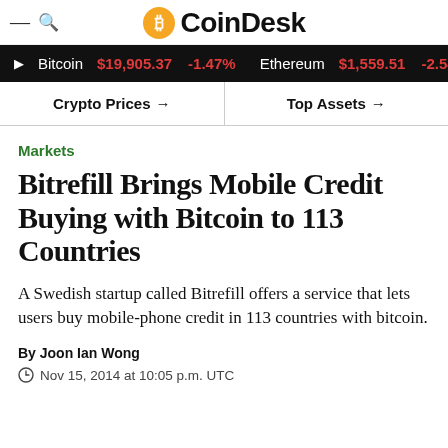CoinDesk
Bitcoin $19,905.37 -1.47% Ethereum $1,559.51 -2.54%
Crypto Prices → Top Assets →
Markets
Bitrefill Brings Mobile Credit Buying with Bitcoin to 113 Countries
A Swedish startup called Bitrefill offers a service that lets users buy mobile-phone credit in 113 countries with bitcoin.
By Joon Ian Wong
Nov 15, 2014 at 10:05 p.m. UTC